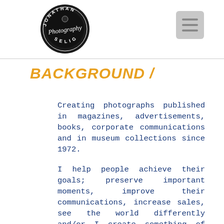[Figure (logo): Jonathan Photography Selig circular logo — dark circle with white text 'JONATHAN' at top, 'SELIG' at bottom, and 'Photography' in cursive script across the center]
BACKGROUND /
Creating photographs published in magazines, advertisements, books, corporate communications and in museum collections since 1972.
I help people achieve their goals; preserve important moments, improve their communications, increase sales, see the world differently and/or I create something of beauty that will last beyond their lifetime!